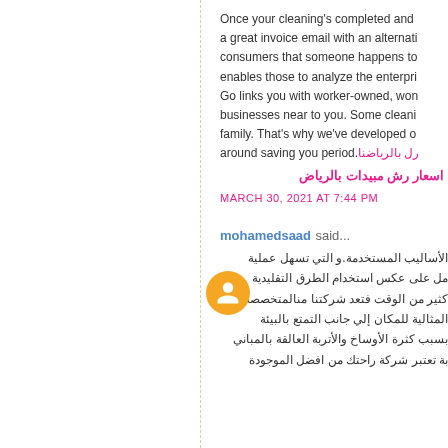Once your cleaning's completed and a great invoice email with an alternative consumers that someone happens to enables those to analyze the enterprise Go links you with worker-owned, won businesses near to you. Some cleani family. That's why we've developed o around saving you period. [Arabic link] اسعار رش مبيدات بالرياض
MARCH 30, 2021 AT 7:44 PM
mohamedsaad said...
الأساليب المستخدمة.و التي تسهل عملية مل على عكس استخدام الطرق التقليدية كثير من الوقت فتعد شركتنا منالمتخصصة المثالية للمكان إلي جانب التمتع بالبيئة بسبب كثرة الأوساخ والأتربة العالقة بالمباني بة تعتبر شركة راحتك من افضل الموجودة